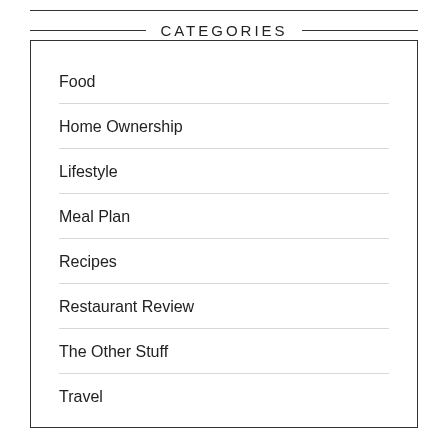CATEGORIES
Food
Home Ownership
Lifestyle
Meal Plan
Recipes
Restaurant Review
The Other Stuff
Travel